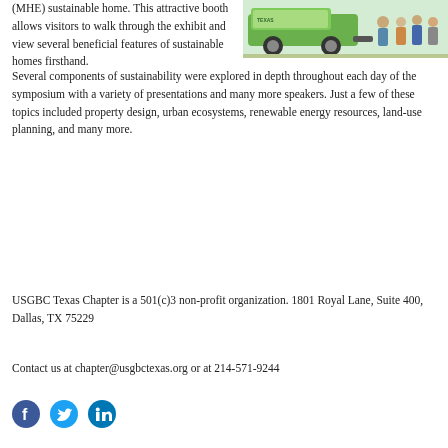(MHE) sustainable home. This attractive booth allows visitors to walk through the exhibit and view several beneficial features of sustainable homes firsthand.
[Figure (photo): Photo of a green and white mobile exhibit vehicle/trailer with people standing beside it outdoors.]
Several components of sustainability were explored in depth throughout each day of the symposium with a variety of presentations and many more speakers. Just a few of these topics included property design, urban ecosystems, renewable energy resources, land-use planning, and many more.
USGBC Texas Chapter is a 501(c)3 non-profit organization. 1801 Royal Lane, Suite 400, Dallas, TX 75229
Contact us at chapter@usgbctexas.org or at 214-571-9244
[Figure (logo): Social media icons: Facebook, Twitter, LinkedIn]